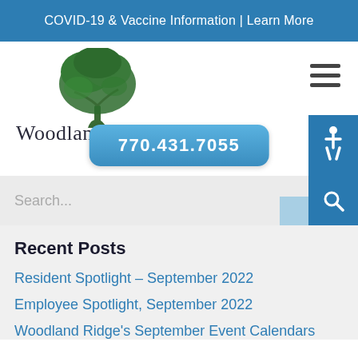COVID-19 & Vaccine Information | Learn More
[Figure (logo): Woodland Ridge logo with a green tree illustration above the text 'Woodland Ridge']
770.431.7055
Recent Posts
Resident Spotlight – September 2022
Employee Spotlight, September 2022
Woodland Ridge's September Event Calendars